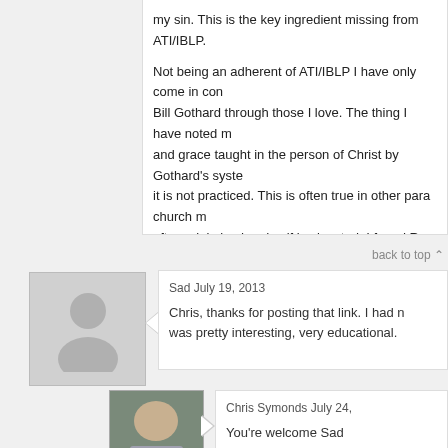Not being an adherent of ATI/IBLP I have only come in contact with Bill Gothard through those I love. The thing I have noted most is that love and grace taught in the person of Christ by Gothard's system is taught but it is not practiced. This is often true in other para church movements where grace is often minimized and self is elevated. I found Ron Henzel's paper very helpful in identifying the key problems with his teachings. I know you are likel;y aware of his webiste but I placed the link here jsut in case. http://ronhenzel.tripod.com/GothardZone/08-BG2BG/index.
back to top
Sad July 19, 2013
Chris, thanks for posting that link. I had never seen it before. It was pretty interesting, very educational.
Chris Symonds July 24,
You're welcome Sad